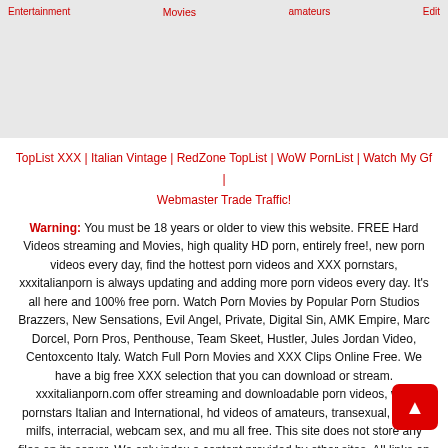Entertainment | Movies | amateurs | Edit
TopList XXX | Italian Vintage | RedZone TopList | WoW PornList | Watch My Gf | Webmaster Trade Traffic!
Warning: You must be 18 years or older to view this website. FREE Hard Videos streaming and Movies, high quality HD porn, entirely free!, new porn videos every day, find the hottest porn videos and XXX pornstars, xxxitalianporn is always updating and adding more porn videos every day. It's all here and 100% free porn. Watch Porn Movies by Popular Porn Studios Brazzers, New Sensations, Evil Angel, Private, Digital Sin, AMK Empire, Marc Dorcel, Porn Pros, Penthouse, Team Skeet, Hustler, Jules Jordan Video, Centoxcento Italy. Watch Full Porn Movies and XXX Clips Online Free. We have a big free XXX selection that you can download or stream. xxxitalianporn.com offer streaming and downloadable porn videos, with pornstars Italian and International, hd videos of amateurs, transexual, teens, milfs, interracial, webcam sex, and mu all free. This site does not store any files on its server. We only index and content provided by other sites. All links on this site lead to pages provided by 3rd parties. We take no responsibility for the content on any website which we